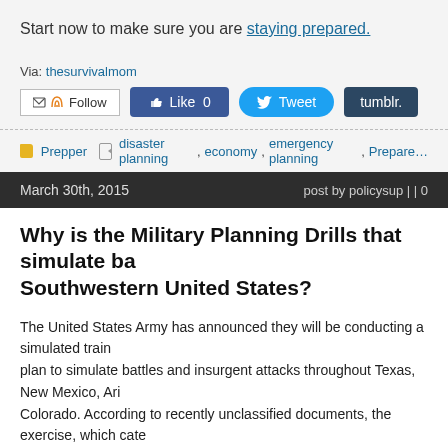Start now to make sure you are staying prepared.
Via: thesurvivalmom
[Figure (screenshot): Social media buttons: Follow, Like 0, Tweet, tumblr.]
Prepper | disaster planning , economy , emergency planning , Prepare...
March 30th, 2015    post by policysup | | 0
Why is the Military Planning Drills that simulate ba... Southwestern United States?
The United States Army has announced they will be conducting a simulated train... plan to simulate battles and insurgent attacks throughout Texas, New Mexico, Ari... Colorado. According to recently unclassified documents, the exercise, which cate... will run from July 15 through September 15th.
Multiple branches of the military are expected to take part in the massive drill incl... 82nd airborne division.